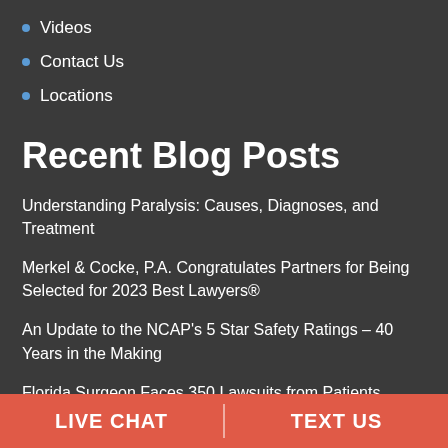Videos
Contact Us
Locations
Recent Blog Posts
Understanding Paralysis: Causes, Diagnoses, and Treatment
Merkel & Cocke, P.A. Congratulates Partners for Being Selected for 2023 Best Lawyers®
An Update to the NCAP's 5 Star Safety Ratings – 40 Years in the Making
Florida Surgeon Faces 350 Lawsuits from Patients
LIVE CHAT | TEXT US